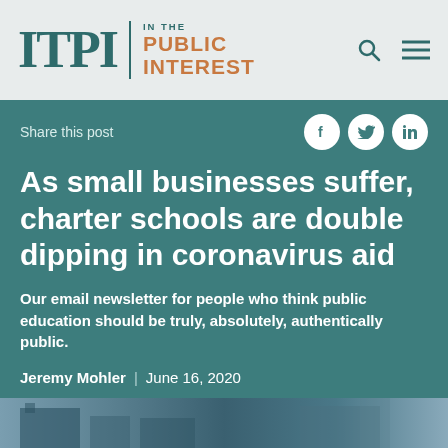ITPI | IN THE PUBLIC INTEREST
Share this post
As small businesses suffer, charter schools are double dipping in coronavirus aid
Our email newsletter for people who think public education should be truly, absolutely, authentically public.
Jeremy Mohler | June 16, 2020
[Figure (photo): Bottom portion of a building or street scene photo, cropped at the bottom of the page]